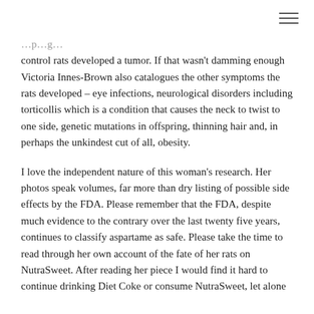control rats developed a tumor. If that wasn't damming enough Victoria Innes-Brown also catalogues the other symptoms the rats developed – eye infections, neurological disorders including torticollis which is a condition that causes the neck to twist to one side, genetic mutations in offspring, thinning hair and, in perhaps the unkindest cut of all, obesity.
I love the independent nature of this woman's research. Her photos speak volumes, far more than dry listing of possible side effects by the FDA. Please remember that the FDA, despite much evidence to the contrary over the last twenty five years, continues to classify aspartame as safe. Please take the time to read through her own account of the fate of her rats on NutraSweet. After reading her piece I would find it hard to continue drinking Diet Coke or consume NutraSweet, let alone